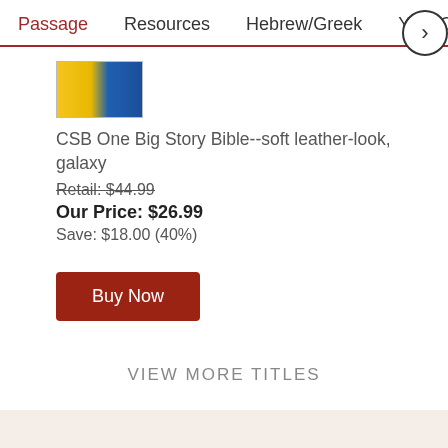Passage   Resources   Hebrew/Greek   Your Cont >
[Figure (illustration): Book cover image of CSB One Big Story Bible with yellow and blue cover]
CSB One Big Story Bible--soft leather-look, galaxy
Retail: $44.99
Our Price: $26.99
Save: $18.00 (40%)
Buy Now
VIEW MORE TITLES